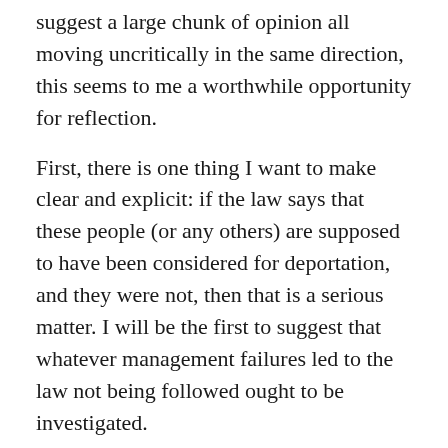suggest a large chunk of opinion all moving uncritically in the same direction, this seems to me a worthwhile opportunity for reflection.
First, there is one thing I want to make clear and explicit: if the law says that these people (or any others) are supposed to have been considered for deportation, and they were not, then that is a serious matter. I will be the first to suggest that whatever management failures led to the law not being followed ought to be investigated.
However, as for the rest of the media frenzy and what it may say about us as a society…